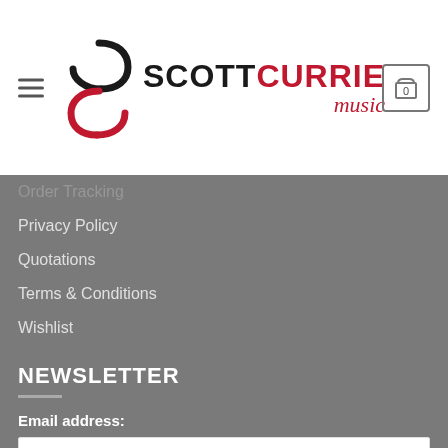Scott Currie Music — site header with logo and cart
Order Tracking
Privacy Policy
Quotations
Terms & Conditions
Wishlist
NEWSLETTER
Email address:
Your email address
SIGN UP